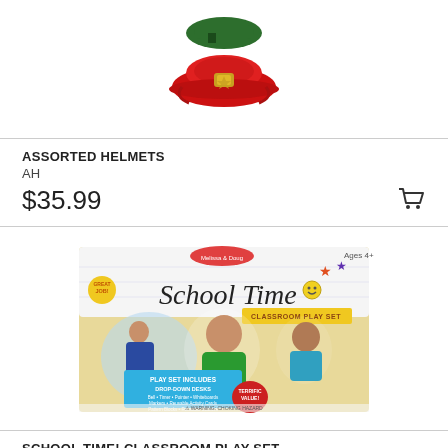[Figure (photo): Red firefighter/assorted helmet toy product photo on white background]
ASSORTED HELMETS
AH
$35.99
[Figure (photo): Melissa & Doug School Time! Classroom Play Set product box showing children playing with educational toys]
SCHOOL TIME! CLASSROOM PLAY SET
MD8514
$49.99